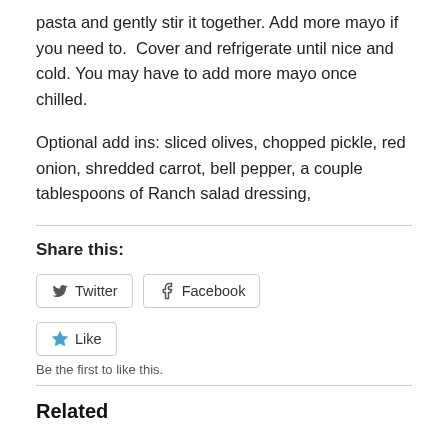pasta and gently stir it together. Add more mayo if you need to.  Cover and refrigerate until nice and  cold. You may have to add more mayo once chilled.
Optional add ins: sliced olives, chopped pickle, red onion, shredded carrot, bell pepper, a couple tablespoons of Ranch salad dressing,
Share this:
Twitter
Facebook
Like
Be the first to like this.
Related